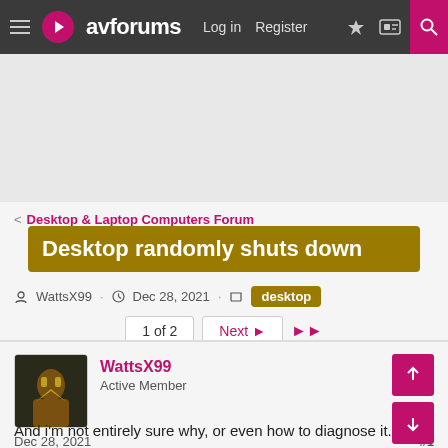avforums — Log in | Register
[Figure (other): Advertisement banner area (gray placeholder)]
< Desktop & Laptop Computers Forum
Desktop randomly shuts down
WattsX99 · Dec 28, 2021 · desktop
1 of 2  Next ▶  ▶▶
WattsX99
Active Member
Dec 28, 2021  #1
And i'm not entirely sure why, or even how to diagnose it.